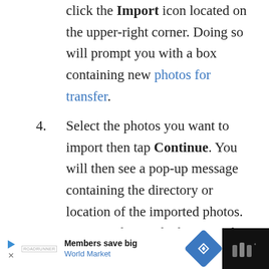click the Import icon located on the upper-right corner. Doing so will prompt you with a box containing new photos for transfer.
4. Select the photos you want to import then tap Continue. You will then see a pop-up message containing the directory or location of the imported photos. You can change the location if you want by clicking on the given option.
Members save big World Market